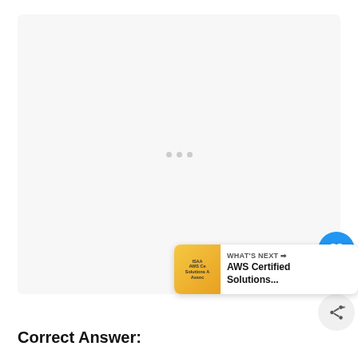[Figure (other): Large white/light gray content area with a loading spinner (three gray dots) in the center, representing a loading or blank state for embedded content.]
[Figure (other): Blue circular heart/like FAB button with like count of 1 below it, and a share FAB button below that. A 'What's Next' banner shows an AWS Certified Solutions badge and the text 'AWS Certified Solutions...']
Correct Answer: